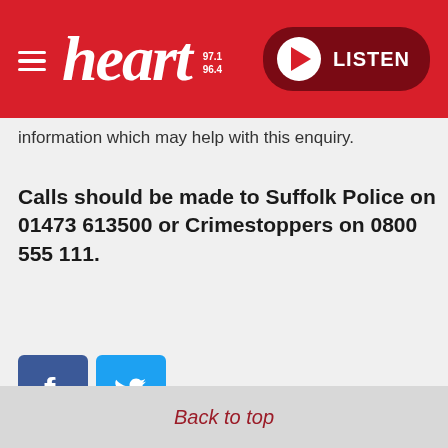[Figure (logo): Heart Radio logo with hamburger menu and LISTEN button on red header banner]
information which may help with this enquiry.
Calls should be made to Suffolk Police on 01473 613500 or Crimestoppers on 0800 555 111.
[Figure (illustration): Facebook and Twitter social media share icons]
Back to top